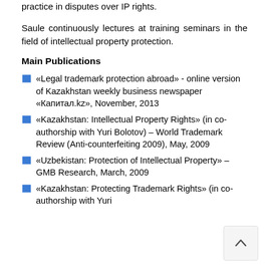practice in disputes over IP rights.
Saule continuously lectures at training seminars in the field of intellectual property protection.
Main Publications
«Legal trademark protection abroad» - online version of Kazakhstan weekly business newspaper «Капитал.kz», November, 2013
«Kazakhstan: Intellectual Property Rights» (in co-authorship with Yuri Bolotov) – World Trademark Review (Anti-counterfeiting 2009), May, 2009
«Uzbekistan: Protection of Intellectual Property» – GMB Research, March, 2009
«Kazakhstan: Protecting Trademark Rights» (in co-authorship with Yuri